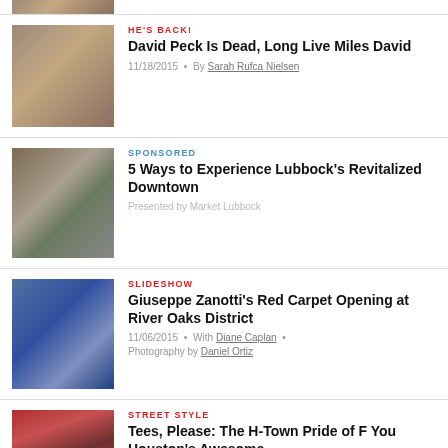[Figure (photo): Top cropped article thumbnail showing people in fashion clothing]
[Figure (photo): Fashion article image showing mannequins or models in colorful dresses]
HE'S BACK!
David Peck Is Dead, Long Live Miles David
11/18/2015 • By Sarah Rufca Nielsen
[Figure (photo): Outdoor street scene with people walking]
SPONSORED
5 Ways to Experience Lubbock's Revitalized Downtown
Presented by Market Lubbock
[Figure (photo): Two people at a red carpet event, woman in blue dress and man in navy suit]
SLIDESHOW
Giuseppe Zanotti's Red Carpet Opening at River Oaks District
11/06/2015 • With Diane Caplan • Photography by Daniel Ortiz
[Figure (photo): Clothing store with racks of colorful t-shirts and tops]
STREET STYLE
Tees, Please: The H-Town Pride of F You Houston's Awesome